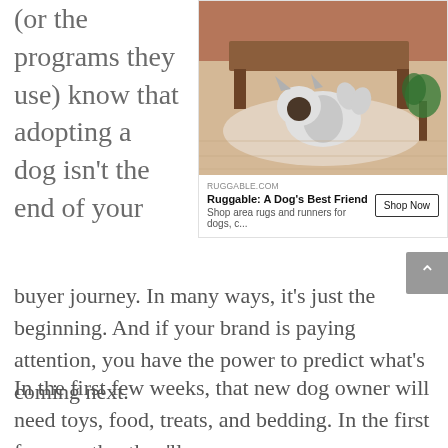(or the programs they use) know that adopting a dog isn't the end of your
[Figure (screenshot): Advertisement for Ruggable showing a dog lying on a rug. Domain: RUGGABLE.COM. Title: Ruggable: A Dog's Best Friend. Description: Shop area rugs and runners for dogs, c... Button: Shop Now]
buyer journey. In many ways, it's just the beginning. And if your brand is paying attention, you have the power to predict what's coming next.
In the first few weeks, that new dog owner will need toys, food, treats, and bedding. In the first few months, they'll